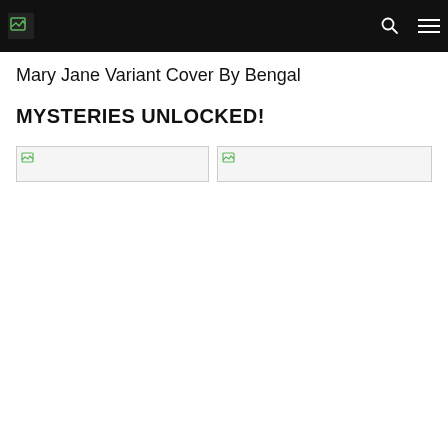Mary Jane Variant Cover By Bengal
Mary Jane Variant Cover By Bengal
MYSTERIES UNLOCKED!
[Figure (photo): Broken image placeholder (left)]
[Figure (photo): Broken image placeholder (right)]